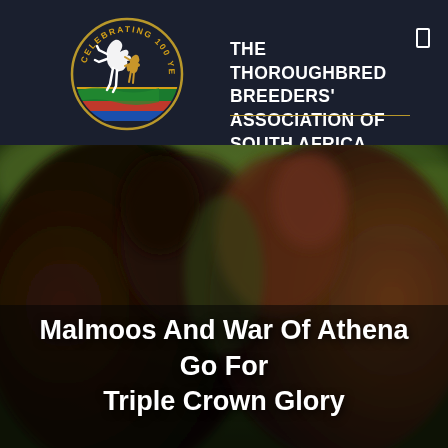[Figure (logo): Thoroughbred Breeders' Association of South Africa logo: circular badge with 'CELEBRATING 100 YEARS' text, white horse and golden foal over South African flag colors (red, green, blue, yellow stripes)]
THE THOROUGHBRED BREEDERS' ASSOCIATION OF SOUTH AFRICA
[Figure (photo): Blurred close-up photo of two horses facing each other, dark brown/chestnut coloring, with green foliage in background]
Malmoos And War Of Athena Go For Triple Crown Glory